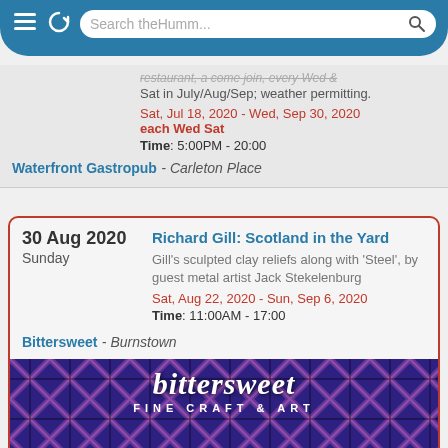Search theHumm...
Sat in July/Aug/Sep; weather permitting.
Sat, Jul 18, 2020 - Wed, Sep 30, 2020
each Wed Sat
Time: 5:00PM - 20:00
Waterfront Gastropub - Carleton Place
30 Aug 2020 Sunday
Richard Gill: Scotland in the Yard
Gill's sculpted clay reliefs along with 'Steel', by guest metal artist Jack Stekelenburg
Sat, Aug 22, 2020 - Sun, Sep 6, 2020
Time: 11:00AM - 17:00
Bittersweet - Burnstown
[Figure (logo): Bittersweet Fine Craft & Art banner with plaid background, showing 'bittersweet FINE CRAFT & ART' and 'presents Richard Gill' text]